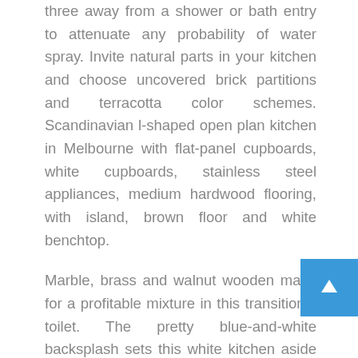three away from a shower or bath entry to attenuate any probability of water spray. Invite natural parts in your kitchen and choose uncovered brick partitions and terracotta color schemes. Scandinavian l-shaped open plan kitchen in Melbourne with flat-panel cupboards, white cupboards, stainless steel appliances, medium hardwood flooring, with island, brown floor and white benchtop.
Marble, brass and walnut wooden make for a profitable mixture in this transitional toilet. The pretty blue-and-white backsplash sets this white kitchen aside from the rest. Paired with an oval mirror, oval towel holder and a spherical light fixture this space exudes daring persona and magnificence. To darker kitchens, choose wooden that has some coloration to it. Rustic wooden shelves add storage options, and a simple, geometric pattern provides texture with out cluttering the room.